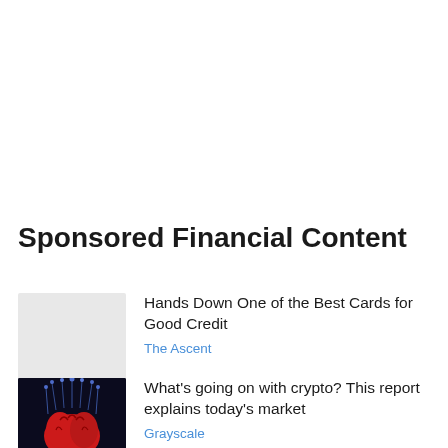Sponsored Financial Content
Hands Down One of the Best Cards for Good Credit
The Ascent
What's going on with crypto? This report explains today's market
Grayscale